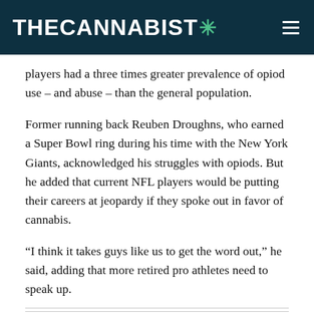THE CANNABIST ✳
players had a three times greater prevalence of opiod use – and abuse – than the general population.
Former running back Reuben Droughns, who earned a Super Bowl ring during his time with the New York Giants, acknowledged his struggles with opiods. But he added that current NFL players would be putting their careers at jeopardy if they spoke out in favor of cannabis.
“I think it takes guys like us to get the word out,” he said, adding that more retired pro athletes need to speak up.
Related: Former football star Ricky Williams launches his own cannabis brand